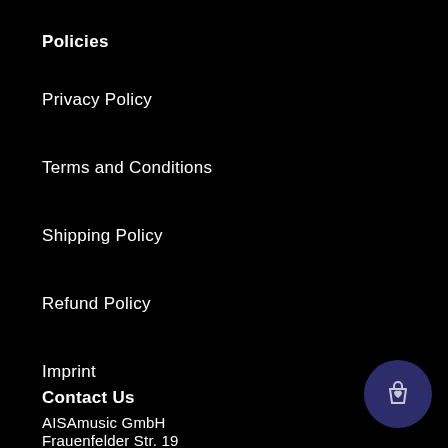Policies
Privacy Policy
Terms and Conditions
Shipping Policy
Refund Policy
Imprint
Contact Us
AISAmusic GmbH
Frauenfelder Str. 19
[Figure (illustration): Shopping bag / cart icon button in dark navy blue circle, bottom right corner]